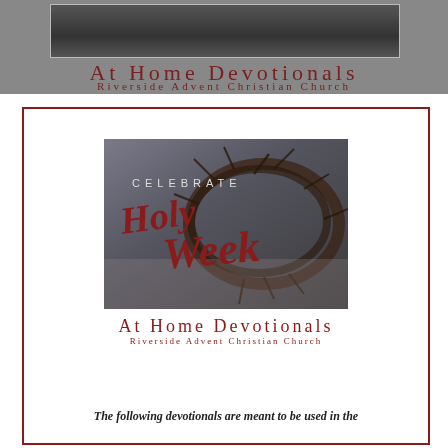At Home Devotionals
Riverside Advent Christian Church
[Figure (illustration): Crown of thorns photograph with 'CELEBRATE Holy Week' text overlay in red script on dark monochrome background]
At Home Devotionals
Riverside Advent Christian Church
The following devotionals are meant to be used in the